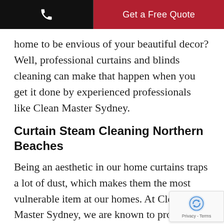Get a Free Quote
home to be envious of your beautiful decor? Well, professional curtains and blinds cleaning can make that happen when you get it done by experienced professionals like Clean Master Sydney.
Curtain Steam Cleaning Northern Beaches
Being an aesthetic in our home curtains traps a lot of dust, which makes them the most vulnerable item at our homes. At Clean Master Sydney, we are known to provide quality curtain cleaning services, we are also known for providing the best steam cleaning service. S cleaning is the only best method for cleaning the